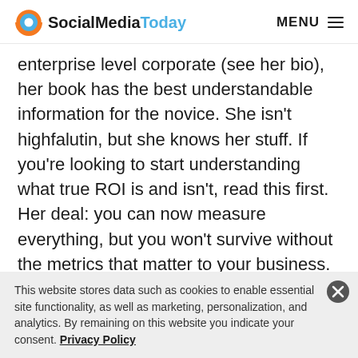SocialMediaToday MENU
enterprise level corporate (see her bio), her book has the best understandable information for the novice. She isn't highfalutin, but she knows her stuff. If you're looking to start understanding what true ROI is and isn't, read this first. Her deal: you can now measure everything, but you won't survive without the metrics that matter to your business. She answers the common questions, busts the myths, and walks you through seven understandable steps to a good measurement
This website stores data such as cookies to enable essential site functionality, as well as marketing, personalization, and analytics. By remaining on this website you indicate your consent. Privacy Policy